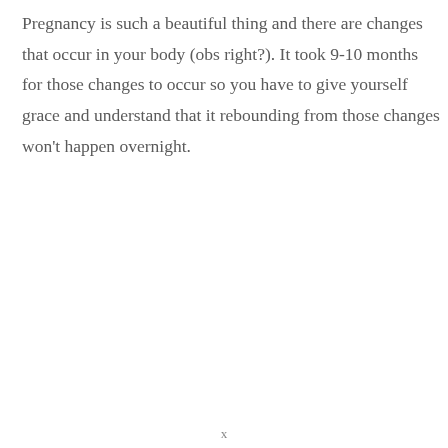Pregnancy is such a beautiful thing and there are changes that occur in your body (obs right?). It took 9-10 months for those changes to occur so you have to give yourself grace and understand that it rebounding from those changes won't happen overnight.
x